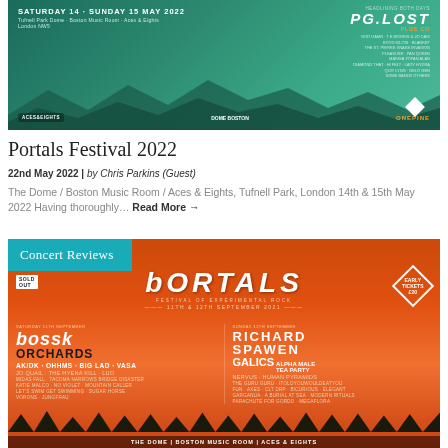[Figure (photo): Festival poster for Portals Festival 2022, Saturday 14 - Sunday 15 May 2022, The Dome / Boston Music Room / Aces & Eights, London. Green teal background with mountain silhouette, featuring PG.Lost and lineup. Logos at bottom for Aces & Eights, Dome Boston, and Onepine.]
Portals Festival 2022
22nd May 2022 | by Chris Parkins (Guest)
The Dome / Boston Music Room / Aces & Eights, Tufnell Park, London 14th & 15th May 2022 Having thoroughly… Read More →
[Figure (photo): Festival poster for Portals Festival of Experimental Rock, 11th & 12th September 2021. Orange/red background with silhouette of trees. Early bird tickets £20. Headliners: Bossk, Orchards, Richard, Spawen. Other acts: AK/DK, OHHMS, Big Lad, Vasa, Galics, Alpha Male Tea Party, Jo Quail, The Hyena Kill, Luo, Nervus, Human Pyramids, The Guru Guru, ItoldyouwouldeatYou, and many more. Venue: The Dome, Boston Music Room, Aces & Eights, London. Concert Reviews tag overlaid.]